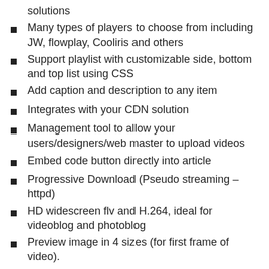solutions
Many types of players to choose from including JW, flowplay, Cooliris and others
Support playlist with customizable side, bottom and top list using CSS
Add caption and description to any item
Integrates with your CDN solution
Management tool to allow your users/designers/web master to upload videos
Embed code button directly into article
Progressive Download (Pseudo streaming – httpd)
HD widescreen flv and H.264, ideal for videoblog and photoblog
Preview image in 4 sizes (for first frame of video).
Full Screen feature.
Domain lock feature to protect your video
Support HTTPS (SSL) sites
Download source feature